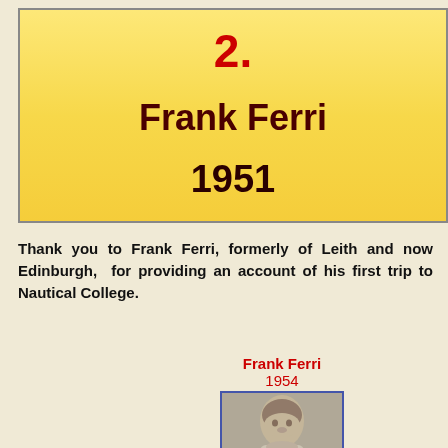2.
Frank Ferri
1951
Thank you to Frank Ferri, formerly of Leith and now Edinburgh, for providing an account of his first trip to Nautical College.
Frank Ferri
1954
[Figure (photo): Black and white portrait photograph of a young Frank Ferri, taken in 1954]